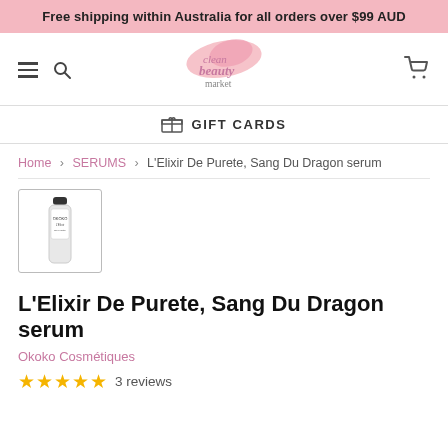Free shipping within Australia for all orders over $99 AUD
[Figure (logo): Clean Beauty Market logo with pink brush stroke and text 'clean beauty market']
GIFT CARDS
Home > SERUMS > L'Elixir De Purete, Sang Du Dragon serum
[Figure (photo): Small product thumbnail of L'Elixir De Purete Sang Du Dragon serum bottle]
L'Elixir De Purete, Sang Du Dragon serum
Okoko Cosmétiques
★★★★★ 3 reviews